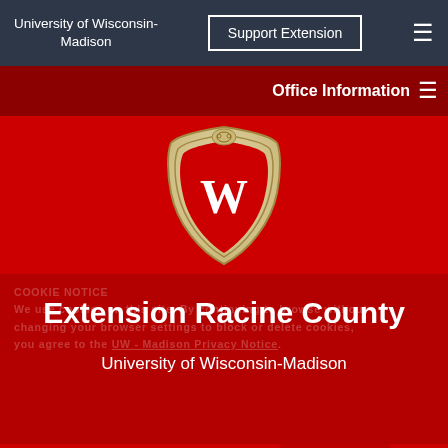University of Wisconsin-Madison
Office Information
[Figure (logo): University of Wisconsin-Madison crest/shield logo with W on red background, surrounded by ornate gold border]
Extension Racine County
University of Wisconsin-Madison
COOKIE NOTICE
We use cookies on this site. By continuing to browse without changing your browser settings to block or delete cookies, you agree to the UW - Madison Privacy Notice.
Search...